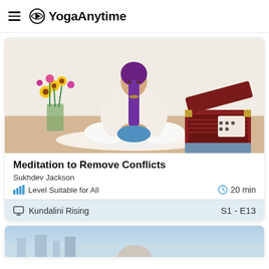YogaAnytime
[Figure (photo): Woman with purple braided hair wearing white outfit, sitting cross-legged on a mat in a meditation pose, with a vase of flowers on the left and a harmonium on the right.]
Meditation to Remove Conflicts
Sukhdev Jackson
Level Suitable for All   20 min
Kundalini Rising   S1 - E13
[Figure (photo): Partial view of second video card showing a light blue background, partially cropped at the bottom of the page.]